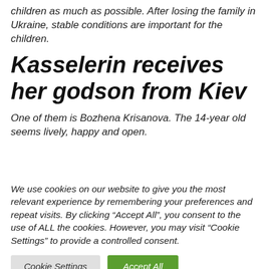children as much as possible. After losing the family in Ukraine, stable conditions are important for the children.
Kasselerin receives her godson from Kiev
One of them is Bozhena Krisanova. The 14-year old seems lively, happy and open.
We use cookies on our website to give you the most relevant experience by remembering your preferences and repeat visits. By clicking “Accept All”, you consent to the use of ALL the cookies. However, you may visit “Cookie Settings” to provide a controlled consent.